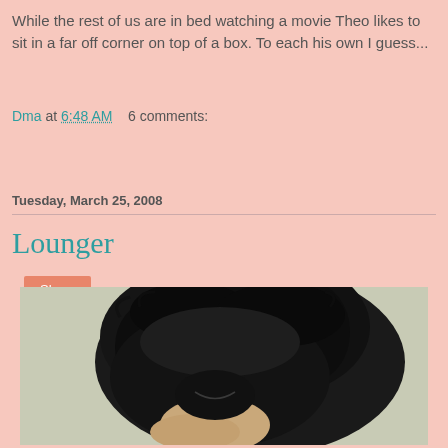While the rest of us are in bed watching a movie Theo likes to sit in a far off corner on top of a box. To each his own I guess...
Dma at 6:48 AM    6 comments:
Share
Tuesday, March 25, 2008
Lounger
[Figure (photo): Close-up photo of a black fluffy cat resting/lounging, viewed from above/behind, on a light beige background]